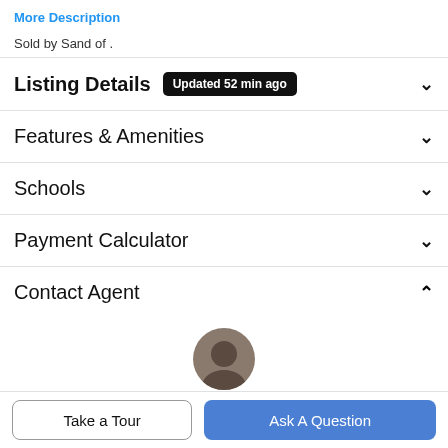More Description
Sold by Sand of .
Listing Details  Updated 52 min ago
Features & Amenities
Schools
Payment Calculator
Contact Agent
[Figure (photo): Partial view of a person's head (profile photo of contact agent)]
Take a Tour
Ask A Question